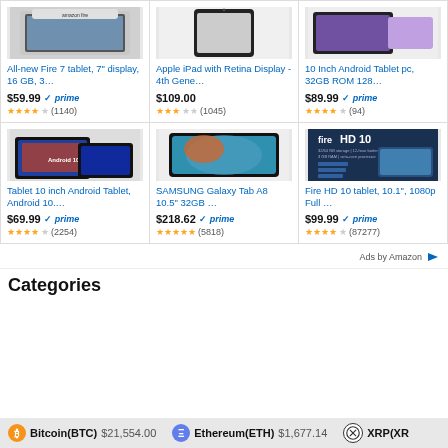[Figure (screenshot): Amazon product listing grid with 6 tablet products, prices, star ratings, and Prime badges]
Ads by Amazon
Categories
Bitcoin(BTC) $21,554.00   Ethereum(ETH) $1,677.14   XRP(XR...